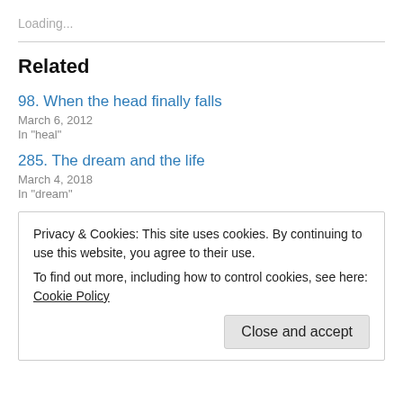Loading...
Related
98. When the head finally falls
March 6, 2012
In "heal"
285. The dream and the life
March 4, 2018
In "dream"
Privacy & Cookies: This site uses cookies. By continuing to use this website, you agree to their use.
To find out more, including how to control cookies, see here: Cookie Policy
Close and accept